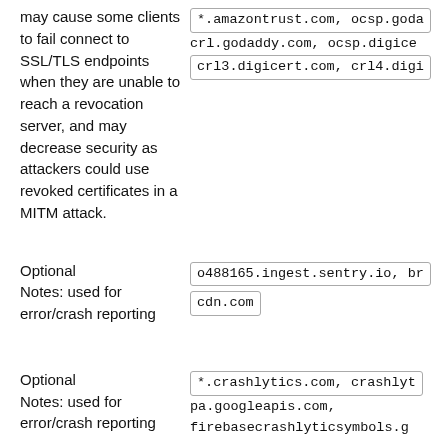may cause some clients to fail connect to SSL/TLS endpoints when they are unable to reach a revocation server, and may decrease security as attackers could use revoked certificates in a MITM attack.
*.amazontrust.com, ocsp.goda... crl.godaddy.com, ocsp.digice... crl3.digicert.com, crl4.digi...
Optional
Notes: used for error/crash reporting
o488165.ingest.sentry.io, br... cdn.com
Optional
Notes: used for error/crash reporting
*.crashlytics.com, crashlyt... pa.googleapis.com, firebasecrashlyticssymbols.g...